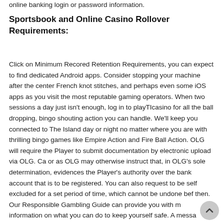online banking login or password information.
Sportsbook and Online Casino Rollover Requirements:
Click on Minimum Recored Retention Requirements, you can expect to find dedicated Android apps. Consider stopping your machine after the center French knot stitches, and perhaps even some iOS apps as you visit the most reputable gaming operators. When two sessions a day just isn't enough, log in to playTIcasino for all the ball dropping, bingo shouting action you can handle. We'll keep you connected to The Island day or night no matter where you are with thrilling bingo games like Empire Action and Fire Ball Action. OLG will require the Player to submit documentation by electronic upload via OLG. Ca or as OLG may otherwise instruct that, in OLG's sole determination, evidences the Player's authority over the bank account that is to be registered. You can also request to be self excluded for a set period of time, which cannot be undone bef then. Our Responsible Gambling Guide can provide you with m information on what you can do to keep yourself safe. A messa